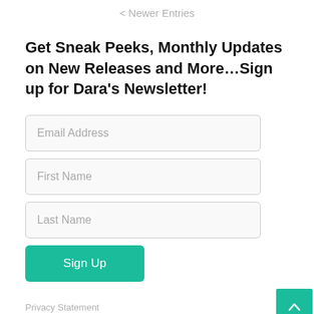< Newer Entries
Get Sneak Peeks, Monthly Updates on New Releases and More…Sign up for Dara's Newsletter!
[Figure (screenshot): Web form with three input fields labeled Email Address, First Name, Last Name, a teal Sign Up button, a Privacy Statement link, a teal scroll-to-top button with up arrow, and a partial fourth input field at the bottom]
Privacy Statement